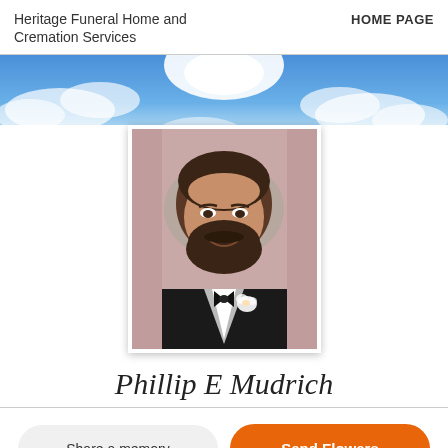Heritage Funeral Home and Cremation Services    HOME PAGE
[Figure (photo): Sky banner with blue sky and white clouds as background header image]
[Figure (photo): Portrait photo of Phillip E Mudrich in a tuxedo with bow tie and boutonniere, smiling, with beard, framed with white border]
Phillip E Mudrich
Share a memory
Send Flowers